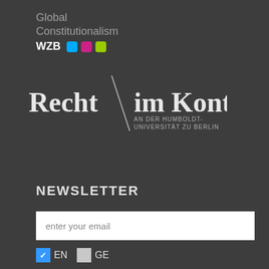Global Constitutionalism WZB
[Figure (logo): Recht im Kontext an der Humboldt-Universität zu Berlin logo with diagonal slash]
NEWSLETTER
enter your email
EN  GE
Subscribe